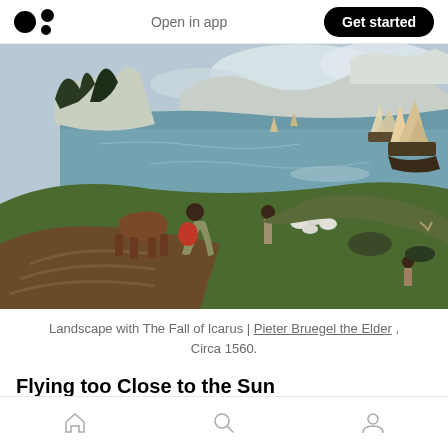Medium logo | Open in app | Get started
[Figure (photo): Landscape with The Fall of Icarus painting by Pieter Bruegel the Elder, circa 1560. Shows a coastal landscape with a ploughman, horse, shepherd with sheep, and tall ships on the sea. A figure is barely visible falling into the water at right.]
Landscape with The Fall of Icarus | Pieter Bruegel the Elder , Circa 1560.
Flying too Close to the Sun
Bottom navigation: Home | Search | Profile